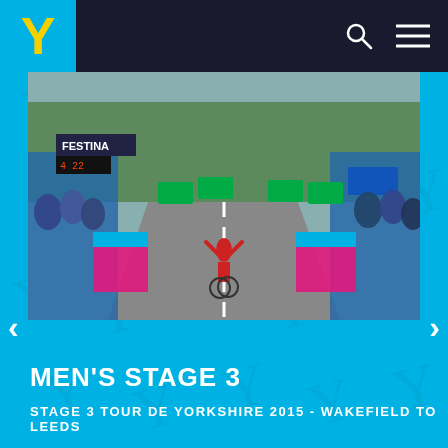Y (Tour de Yorkshire logo navigation bar)
[Figure (photo): Cycling race finish line scene at Tour de Yorkshire 2015. A cyclist in red jersey crossing the finish line on a wide road lined with cheering crowds behind blue barriers and pink banner stands. FESTINA timing sign visible. Green trees in background.]
MEN'S STAGE 3
STAGE 3 TOUR DE YORKSHIRE 2015 - WAKEFIELD TO LEEDS